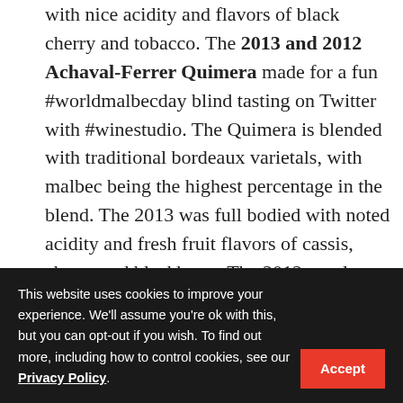with nice acidity and flavors of black cherry and tobacco. The 2013 and 2012 Achaval-Ferrer Quimera made for a fun #worldmalbecday blind tasting on Twitter with #winestudio. The Quimera is blended with traditional bordeaux varietals, with malbec being the highest percentage in the blend. The 2013 was full bodied with noted acidity and fresh fruit flavors of cassis, cherry and blackberry. The 2012 was leaner more earthy, but with nice acidity and a long finish.
The bison flank steak with chimchurri sauce was an
This website uses cookies to improve your experience. We'll assume you're ok with this, but you can opt-out if you wish. To find out more, including how to control cookies, see our Privacy Policy. Accept